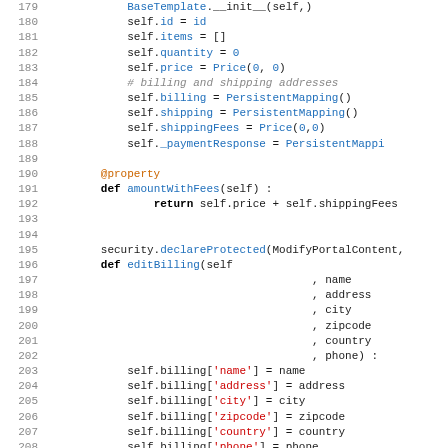[Figure (screenshot): Python source code snippet showing lines 179-211 of a shopping cart or order class. Code includes __init__ method with id, items, quantity, price, billing, shipping, shippingFees, _paymentResponse attributes, an amountWithFees property, and editBilling/editShipping methods with security.declareProtected decorators.]